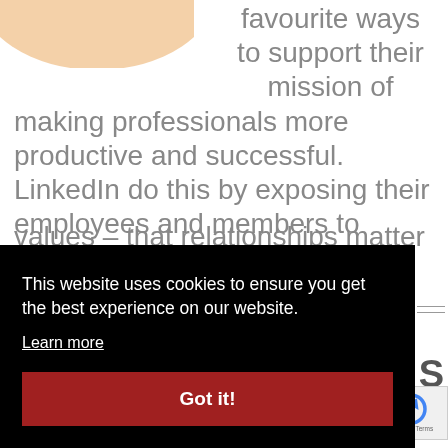[Figure (illustration): Partial orange/peach blob shape visible in top-left corner, part of a larger illustration]
favourite ways to support their mission of making professionals more productive and successful. LinkedIn do this by exposing their employees and members to inspiring ideas and innovative thinkers from around the globe. The program also reinforces one of their core company values – that relationships matter
This website uses cookies to ensure you get the best experience on our website.
Learn more
Got it!
Privacy · Terms
Collaboration Is